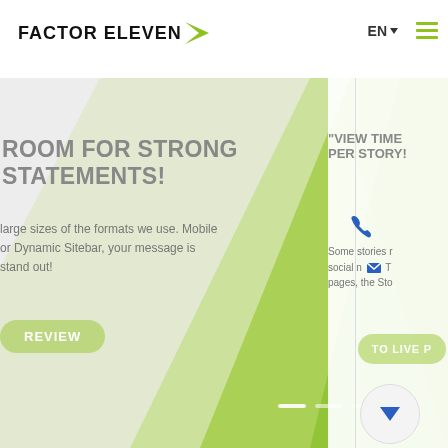[Figure (logo): Factor Eleven logo with green arrow]
EN
[Figure (screenshot): Factor Eleven website screenshot showing two promotional banner slides: left slide about 'Room for Strong Statements' with green diagonal graphic, right slide about 'View Time Per Story'. Green hamburger menu at top right. Navigation with EN language selector.]
ROOM FOR STRONG STATEMENTS!
large sizes of the formats we use. Mobile or Dynamic Sitebar, your message is stand out!
REVIEW
“VIEW TIME PER STORY!
Some stories r social n pages, the Sto
TO LIVE P